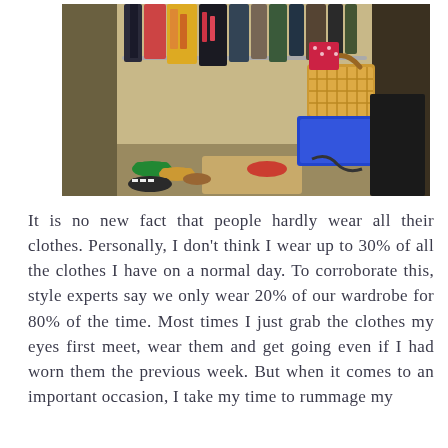[Figure (photo): A cluttered closet with clothes hanging on a rod, shoes scattered on the floor including colorful flats and sandals, a wicker laundry basket on top of a blue storage bin, and dark items on the right side.]
It is no new fact that people hardly wear all their clothes. Personally, I don't think I wear up to 30% of all the clothes I have on a normal day. To corroborate this, style experts say we only wear 20% of our wardrobe for 80% of the time. Most times I just grab the clothes my eyes first meet, wear them and get going even if I had worn them the previous week. But when it comes to an important occasion, I take my time to rummage my